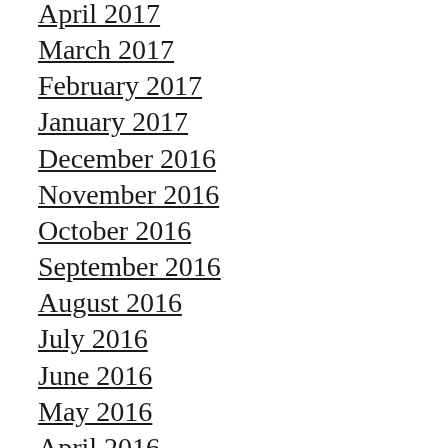April 2017
March 2017
February 2017
January 2017
December 2016
November 2016
October 2016
September 2016
August 2016
July 2016
June 2016
May 2016
April 2016
March 2016
February 2016
January 2016